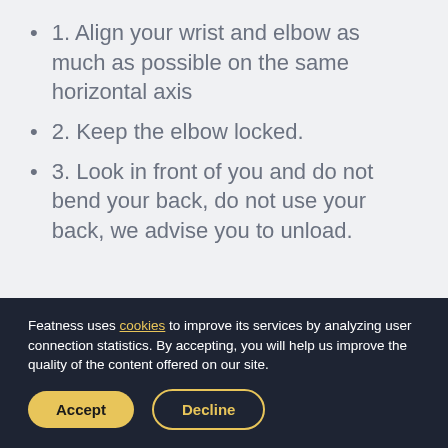1. Align your wrist and elbow as much as possible on the same horizontal axis
2. Keep the elbow locked.
3. Look in front of you and do not bend your back, do not use your back, we advise you to unload.
Featness uses cookies to improve its services by analyzing user connection statistics. By accepting, you will help us improve the quality of the content offered on our site.